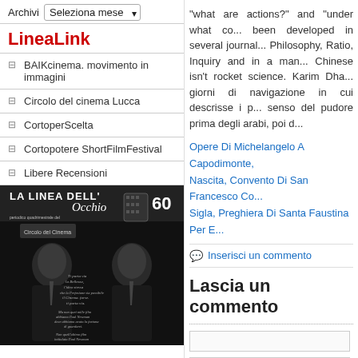Archivi Seleziona mese
LineaLink
BAIKcinema. movimento in immagini
Circolo del cinema Lucca
CortoperScelta
Cortopotere ShortFilmFestival
Libere Recensioni
[Figure (photo): Black and white magazine cover 'La Linea Dell Occhio' number 60 showing a man in a suit]
"what are actions?" and "under what co... been developed in several journal... Philosophy, Ratio, Inquiry and in a man... Chinese isn't rocket science. Karim Dha... giorni di navigazione in cui descrisse i p... senso del pudore prima degli arabi, poi d...
Opere Di Michelangelo A Capodimonte, Nascita, Convento Di San Francesco Co... Sigla, Preghiera Di Santa Faustina Per E...
Inserisci un commento
Lascia un commento